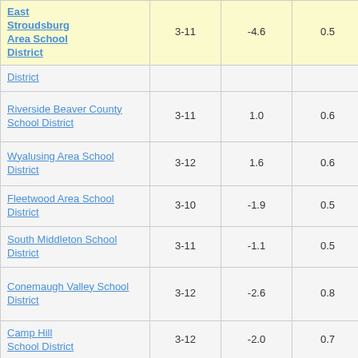| District | Grades | Avg Change | SE | Score |
| --- | --- | --- | --- | --- |
| East Stroudsburg Area School District | 3-11 | -4.6 | 0.5 | -9.94 |
| District (partial) |  |  |  |  |
| Riverside Beaver County School District | 3-11 | 1.0 | 0.6 | 1.54 |
| Wyalusing Area School District | 3-12 | 1.6 | 0.6 | 2.51 |
| Fleetwood Area School District | 3-10 | -1.9 | 0.5 | -3.73 |
| South Middleton School District | 3-11 | -1.1 | 0.5 | -2.15 |
| Conemaugh Valley School District | 3-12 | -2.6 | 0.8 | -3.10 |
| Camp Hill School District | 3-12 | -2.0 | 0.7 | -3.08 |